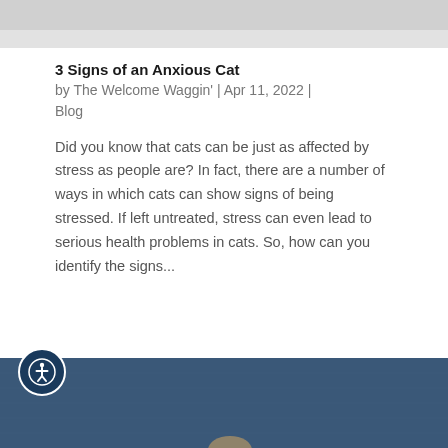[Figure (photo): Top portion of a photo, showing a light-colored fabric or surface, partially cropped]
3 Signs of an Anxious Cat
by The Welcome Waggin' | Apr 11, 2022 | Blog
Did you know that cats can be just as affected by stress as people are? In fact, there are a number of ways in which cats can show signs of being stressed. If left untreated, stress can even lead to serious health problems in cats. So, how can you identify the signs...
[Figure (photo): Bottom portion showing a cat photo with blue/teal background, partially cropped at bottom of page]